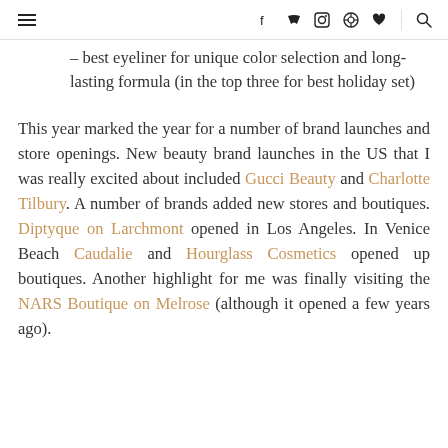≡  f  twitter  instagram  pinterest  ♥  🔍
– best eyeliner for unique color selection and long-lasting formula (in the top three for best holiday set)
This year marked the year for a number of brand launches and store openings. New beauty brand launches in the US that I was really excited about included Gucci Beauty and Charlotte Tilbury. A number of brands added new stores and boutiques. Diptyque on Larchmont opened in Los Angeles. In Venice Beach Caudalie and Hourglass Cosmetics opened up boutiques. Another highlight for me was finally visiting the NARS Boutique on Melrose (although it opened a few years ago).